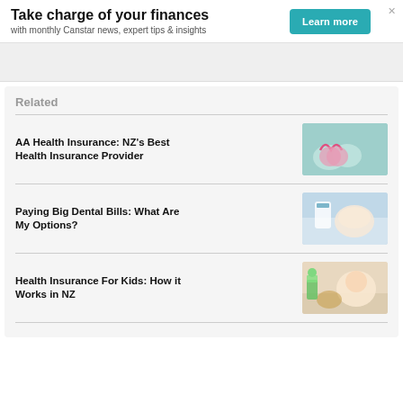Take charge of your finances
with monthly Canstar news, expert tips & insights
Related
AA Health Insurance: NZ's Best Health Insurance Provider
[Figure (photo): Hands holding a pink heart with a heart rate line symbol, on a teal/green background]
Paying Big Dental Bills: What Are My Options?
[Figure (photo): Dentist examining a female patient in a dental chair]
Health Insurance For Kids: How it Works in NZ
[Figure (photo): Young child with a teddy bear and colourful objects]